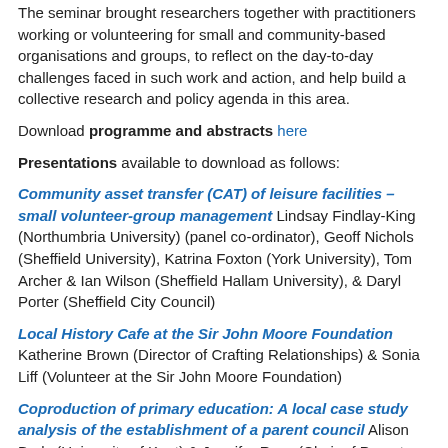The seminar brought researchers together with practitioners working or volunteering for small and community-based organisations and groups, to reflect on the day-to-day challenges faced in such work and action, and help build a collective research and policy agenda in this area.
Download programme and abstracts here
Presentations available to download as follows:
Community asset transfer (CAT) of leisure facilities – small volunteer-group management Lindsay Findlay-King (Northumbria University) (panel co-ordinator), Geoff Nichols (Sheffield University), Katrina Foxton (York University), Tom Archer & Ian Wilson (Sheffield Hallam University), & Daryl Porter (Sheffield City Council)
Local History Cafe at the Sir John Moore Foundation Katherine Brown (Director of Crafting Relationships) & Sonia Liff (Volunteer at the Sir John Moore Foundation)
Coproduction of primary education: A local case study analysis of the establishment of a parent council Alison Body (University of Kent) & Jennifer Ross (Chair of Parent Council)